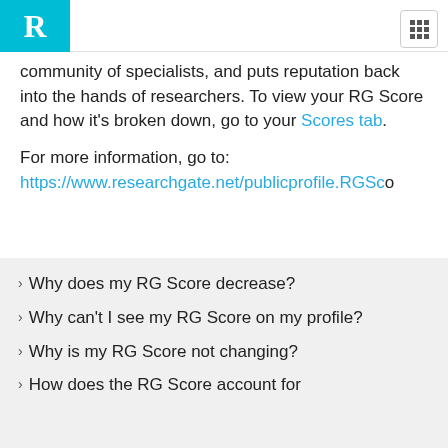ResearchGate
community of specialists, and puts reputation back into the hands of researchers. To view your RG Score and how it's broken down, go to your Scores tab.
For more information, go to: https://www.researchgate.net/publicprofile.RGSc...
Why does my RG Score decrease?
Why can't I see my RG Score on my profile?
Why is my RG Score not changing?
How does the RG Score account for